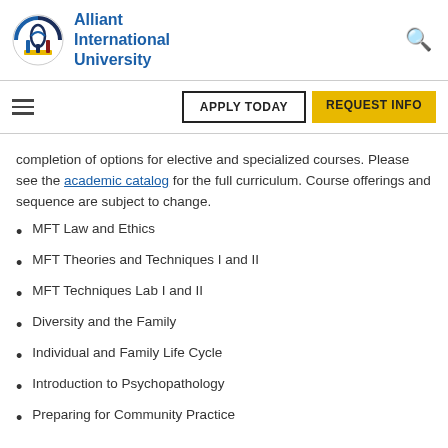Alliant International University
completion of options for elective and specialized courses. Please see the academic catalog for the full curriculum. Course offerings and sequence are subject to change.
MFT Law and Ethics
MFT Theories and Techniques I and II
MFT Techniques Lab I and II
Diversity and the Family
Individual and Family Life Cycle
Introduction to Psychopathology
Preparing for Community Practice